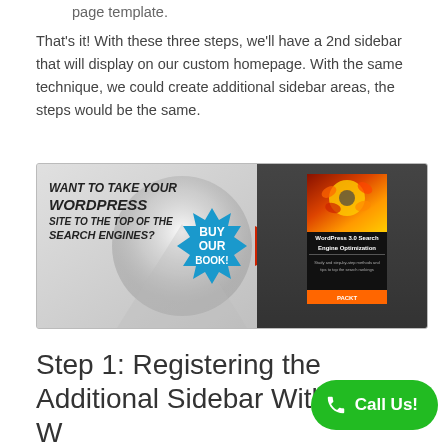page template.
That's it! With these three steps, we'll have a 2nd sidebar that will display on our custom homepage. With the same technique, we could create additional sidebar areas, the steps would be the same.
[Figure (illustration): Advertisement banner reading 'WANT TO TAKE YOUR WORDPRESS SITE TO THE TOP OF THE SEARCH ENGINES?' with a 'BUY OUR BOOK!' badge and an arrow pointing to the WordPress 3.0 Search Engine Optimization book cover with a flower photo.]
Step 1: Registering the Additional Sidebar Within the WordPress Template